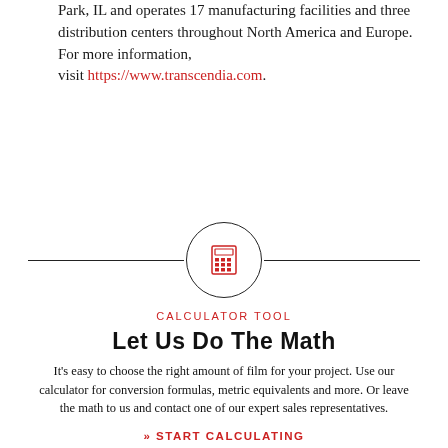Park, IL and operates 17 manufacturing facilities and three distribution centers throughout North America and Europe. For more information, visit https://www.transcendia.com.
[Figure (illustration): A circular icon with a horizontal divider line on each side, containing a red calculator icon in the center]
CALCULATOR TOOL
Let Us Do The Math
It's easy to choose the right amount of film for your project. Use our calculator for conversion formulas, metric equivalents and more. Or leave the math to us and contact one of our expert sales representatives.
» START CALCULATING